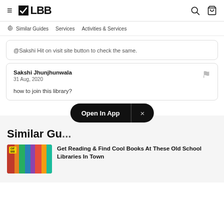≡ LBB  🔍 🛍
Similar Guides   Services   Activities & Services
@Sakshi Hit on visit site button to check the same.
Sakshi Jhunjhunwala
31 Aug, 2020
how to join this library?
Similar Gu...
Open In App  ×
Get Reading & Find Cool Books At These Old School Libraries In Town